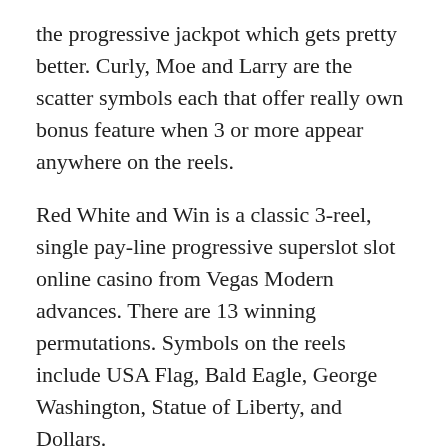the progressive jackpot which gets pretty better. Curly, Moe and Larry are the scatter symbols each that offer really own bonus feature when 3 or more appear anywhere on the reels.
Red White and Win is a classic 3-reel, single pay-line progressive superslot slot online casino from Vegas Modern advances. There are 13 winning permutations. Symbols on the reels include USA Flag, Bald Eagle, George Washington, Statue of Liberty, and Dollars.
This game is not confusing an individual just is really as to do is simply spin and match the object. The primary objective of playing this machine is to win the jackpot prize.
Fourth, there are more slot tournaments online. Most land casinos will only run a slots tournament once 30 days as a novelty. Its too much bother for the horror to